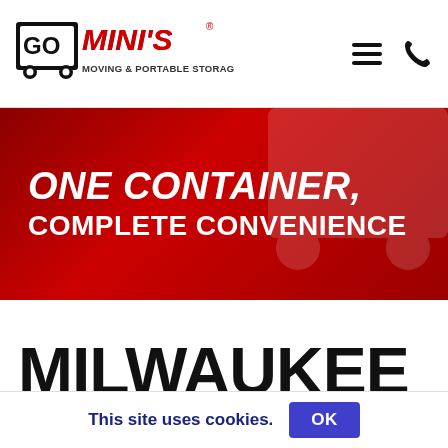[Figure (logo): Go Mini's Moving & Portable Storage logo with hamburger menu and phone icons]
[Figure (illustration): Red hero banner with text: ONE CONTAINER, COMPLETE CONVENIENCE on dark red gradient background]
MILWAUKEE MOVING CONTAINERS
This site uses cookies.
OK